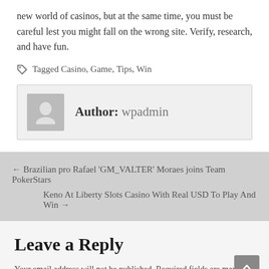new world of casinos, but at the same time, you must be careful lest you might fall on the wrong site. Verify, research, and have fun.
Tagged Casino, Game, Tips, Win
Author: wpadmin
← Brazilian pro Rafael 'GM_VALTER' Moraes joins Team PokerStars
Keno At Liberty Slots Casino With Real USD To Play And Win →
Leave a Reply
Your email address will not be published. Required fields are marked *